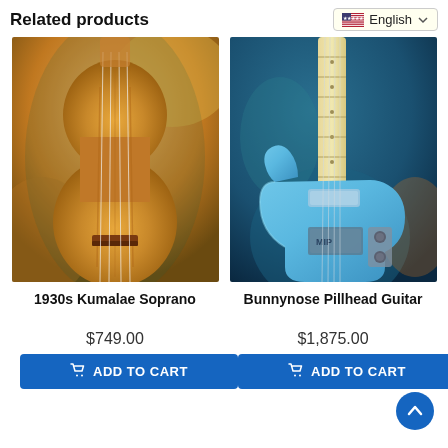Related products
[Figure (screenshot): Language selector dropdown showing US flag and 'English' with a chevron, styled as a web UI widget with cream background]
[Figure (photo): Photo of a 1930s Kumalae Soprano ukulele with natural wood finish, four strings, and a dark bridge, on a blurred background]
[Figure (photo): Photo of a Bunnynose Pillhead Guitar in light blue finish with maple neck, two pickups, and chrome hardware]
1930s Kumalae Soprano
$749.00
Bunnynose Pillhead Guitar
$1,875.00
ADD TO CART
ADD TO CART